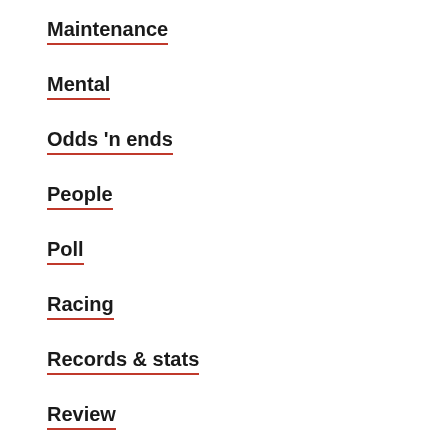Maintenance
Mental
Odds 'n ends
People
Poll
Racing
Records & stats
Review
Rides
running
Safety
soreness